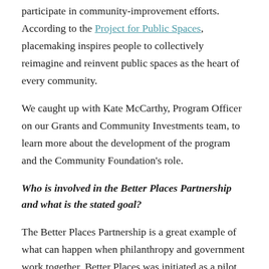participate in community-improvement efforts. According to the Project for Public Spaces, placemaking inspires people to collectively reimagine and reinvent public spaces as the heart of every community.
We caught up with Kate McCarthy, Program Officer on our Grants and Community Investments team, to learn more about the development of the program and the Community Foundation's role.
Who is involved in the Better Places Partnership and what is the stated goal?
The Better Places Partnership is a great example of what can happen when philanthropy and government work together. Better Places was initiated as a pilot project a few years ago and was considered a success when 63 communities responded to a request